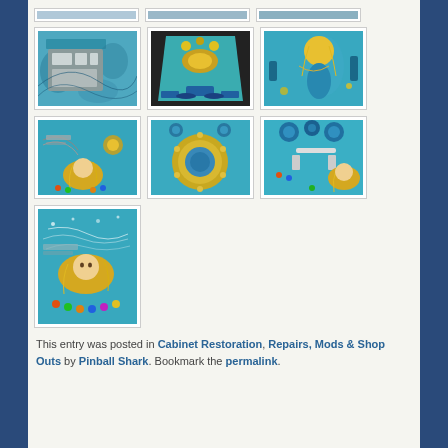[Figure (photo): Pinball machine cabinet back panel with blue swirl artwork]
[Figure (photo): Pinball machine playfield viewed from above showing blue and yellow artwork]
[Figure (photo): Pinball machine playfield close-up with blue and yellow mermaid artwork]
[Figure (photo): Pinball machine playfield lower section with mermaid artwork in blue and yellow]
[Figure (photo): Pinball machine playfield center section with blue spinner/disc element]
[Figure (photo): Pinball machine playfield upper section with blue bumpers and mermaid]
[Figure (photo): Pinball machine playfield lower section detail with mermaid and colored dots]
This entry was posted in Cabinet Restoration, Repairs, Mods & Shop Outs by Pinball Shark. Bookmark the permalink.